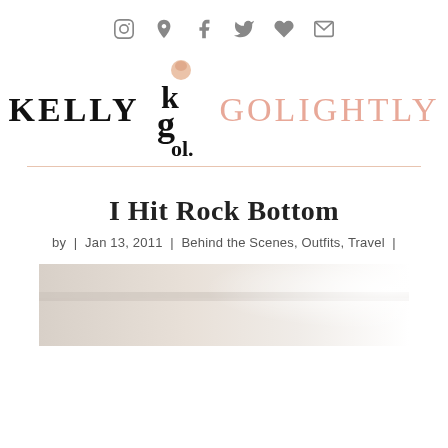Social media icons: Instagram, Pinterest, Facebook, Twitter, Heart, Email
[Figure (logo): Kelly Golightly blog logo with stylized KG monogram emblem, word KELLY in black bold serif, stylized logo mark in center, GOLIGHTLY in pink/salmon serif]
I Hit Rock Bottom
by | Jan 13, 2011 | Behind the Scenes, Outfits, Travel |
[Figure (photo): Partial photo showing what appears to be a bed or furniture piece, bright light on right side, light/white tones]